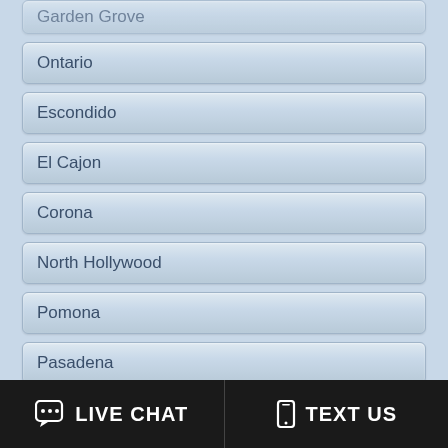Garden Grove
Ontario
Escondido
El Cajon
Corona
North Hollywood
Pomona
Pasadena
Irvine
Moreno Valley
Lancaster
Inglewood
LIVE CHAT   TEXT US